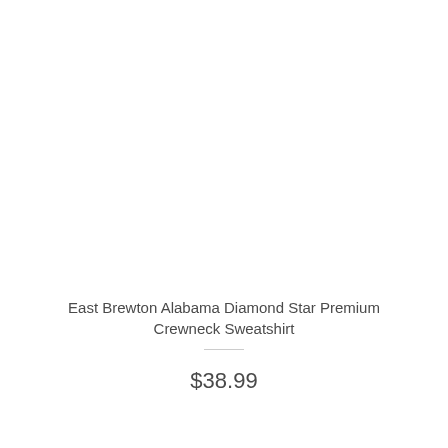East Brewton Alabama Diamond Star Premium Crewneck Sweatshirt
$38.99